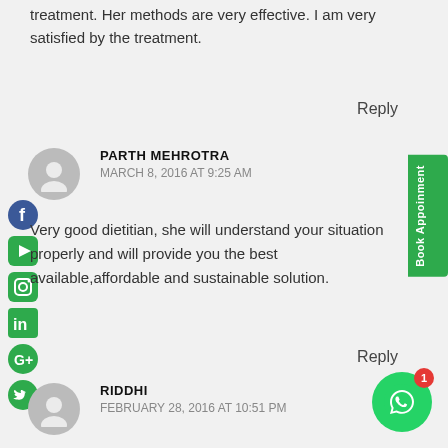treatment. Her methods are very effective. I am very satisfied by the treatment.
Reply
PARTH MEHROTRA
MARCH 8, 2016 AT 9:25 AM
Very good dietitian, she will understand your situation properly and will provide you the best available,affordable and sustainable solution.
Reply
RIDDHI
FEBRUARY 28, 2016 AT 10:51 PM